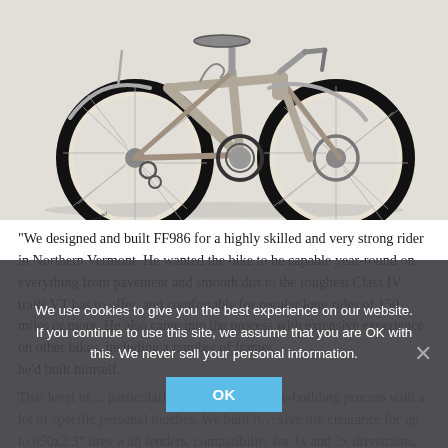[Figure (photo): A titanium-colored touring/gravel bicycle with cream-colored tires, fenders, disc brakes, and a rear derailleur, photographed on a light gray background.]
“We designed and built FF986 for a highly skilled and very strong rider in Northern Vermont. He wanted the bike to be capable year-round on everything from pavement and smooth dirt to the roughest Class IV trails VT has to offer, and comfortable for regular long rides of 150 miles or more. He also came into the process with extensive experience on other bikes, including a number of frames he’d built himself. That level of… particularly collaborative frame-building process with a lot of specific personal touches. We built it… sive tire clearance for up to 650x2.3” tires with fenders, compatibility for 1x and 2x drivetrains,
We use cookies to give you the best experience on our website. If you continue to use this site, we assume that you are OK with this. We never sell your personal information.